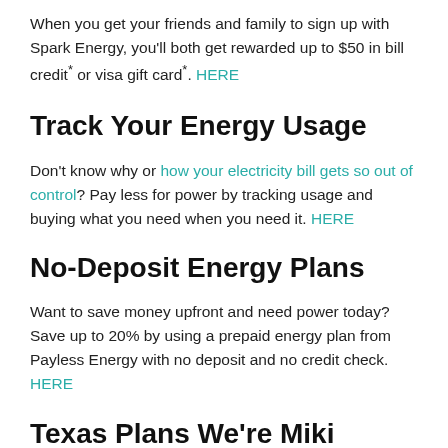When you get your friends and family to sign up with Spark Energy, you'll both get rewarded up to $50 in bill credit* or visa gift card*. HERE
Track Your Energy Usage
Don't know why or how your electricity bill gets so out of control? Pay less for power by tracking usage and buying what you need when you need it. HERE
No-Deposit Energy Plans
Want to save money upfront and need power today? Save up to 20% by using a prepaid energy plan from Payless Energy with no deposit and no credit check. HERE
Texas Plans We're Miki...